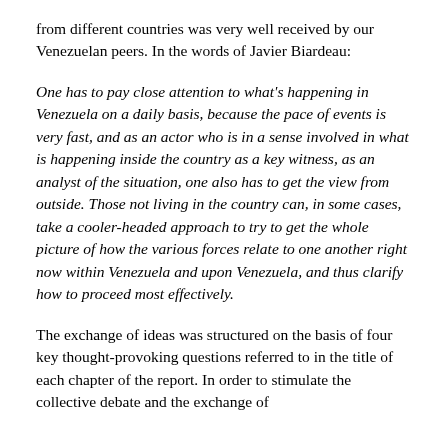from different countries was very well received by our Venezuelan peers. In the words of Javier Biardeau:
One has to pay close attention to what's happening in Venezuela on a daily basis, because the pace of events is very fast, and as an actor who is in a sense involved in what is happening inside the country as a key witness, as an analyst of the situation, one also has to get the view from outside. Those not living in the country can, in some cases, take a cooler-headed approach to try to get the whole picture of how the various forces relate to one another right now within Venezuela and upon Venezuela, and thus clarify how to proceed most effectively.
The exchange of ideas was structured on the basis of four key thought-provoking questions referred to in the title of each chapter of the report. In order to stimulate the collective debate and the exchange of